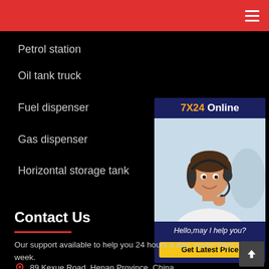Petrol station
Oil tank truck
Fuel dispenser
Gas dispenser
Horizontal storage tank
[Figure (photo): Customer service representative wearing headset, smiling. Sidebar widget with '7X24 Online' header, photo, 'Hello,may I help you?' message and 'Get Latest Price' button in yellow.]
Contact Us
Our support available to help you 24 hours a day, seven days a week.
89 Kexue Road, Henan Province, China